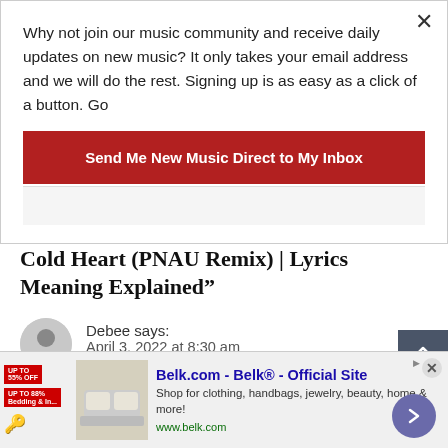Why not join our music community and receive daily updates on new music? It only takes your email address and we will do the rest. Signing up is as easy as a click of a button. Go
Send Me New Music Direct to My Inbox
8 thoughts on “Elton John & Dua Lipa – Cold Heart (PNAU Remix) | Lyrics Meaning Explained”
Debee says:
April 3, 2022 at 8:30 am
I love it so much, well, I thought it, but, I kept it
[Figure (infographic): Advertisement banner for Belk.com - Belk Official Site. Shop for clothing, handbags, jewelry, beauty, home & more. URL: www.belk.com]